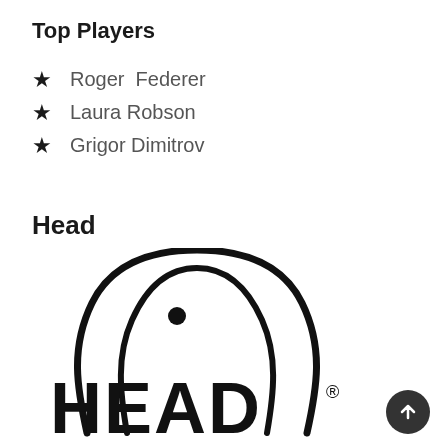Top Players
Roger  Federer
Laura Robson
Grigor Dimitrov
Head
[Figure (logo): HEAD brand logo: arch/penguin shape above bold 'HEAD' text with registered trademark symbol]